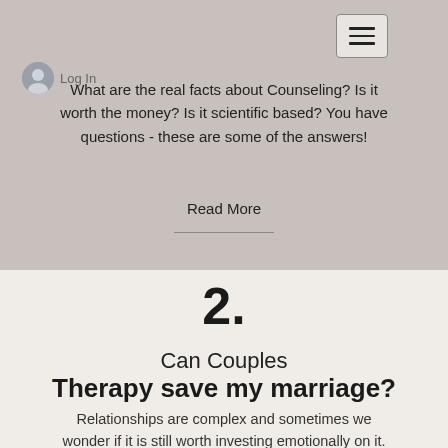What are the real facts about Counseling? Is it worth the money? Is it scientific based? You have questions - these are some of the answers!
Read More
2.
Can Couples Therapy save my marriage?
Relationships are complex and sometimes we wonder if it is still worth investing emotionally on it. When everything else fails, can couples therapy be the answer?